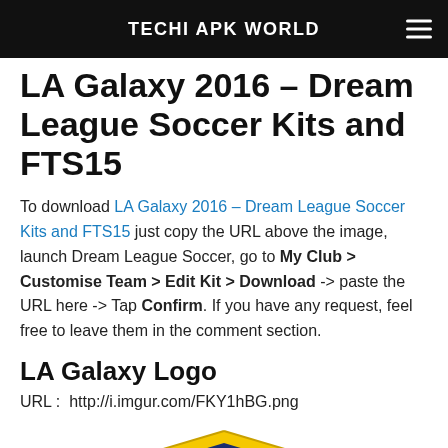TECHI APK WORLD
LA Galaxy 2016 – Dream League Soccer Kits and FTS15
To download LA Galaxy 2016 – Dream League Soccer Kits and FTS15 just copy the URL above the image, launch Dream League Soccer, go to My Club > Customise Team > Edit Kit > Download -> paste the URL here -> Tap Confirm. If you have any request, feel free to leave them in the comment section.
LA Galaxy Logo
URL :  http://i.imgur.com/FKY1hBG.png
[Figure (logo): LA Galaxy logo — a shield shape in dark navy blue with gold/yellow border, featuring a white four-pointed star design in the center, partially visible cropped at bottom of page.]